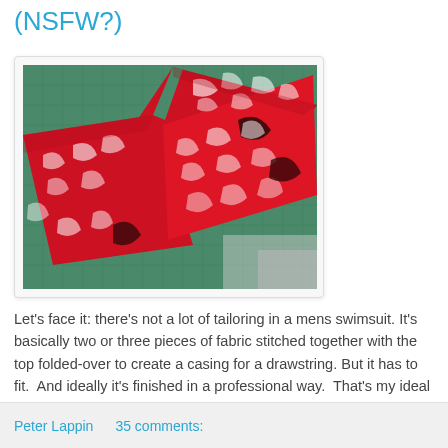(NSFW?)
[Figure (photo): Red and white tropical leaf/floral patterned fabric pieces laid out on a green cutting mat, showing several cut fabric squares arranged for sewing.]
Let's face it: there's not a lot of tailoring in a mens swimsuit. It's basically two or three pieces of fabric stitched together with the top folded-over to create a casing for a drawstring. But it has to fit. And ideally it's finished in a professional way. That's my ideal anyway.
Peter Lappin    35 comments: